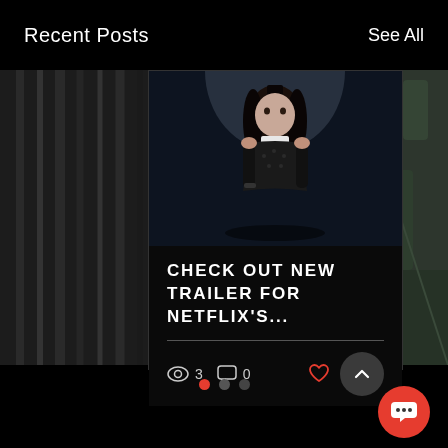Recent Posts   See All
[Figure (screenshot): Mobile app UI showing Recent Posts section with a card featuring Wednesday Addams character from Netflix, with view count 3, comment count 0, and a heart/like icon]
CHECK OUT NEW TRAILER FOR NETFLIX'S...
3
0